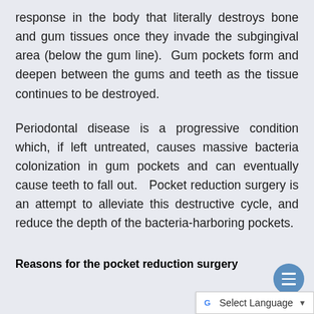response in the body that literally destroys bone and gum tissues once they invade the subgingival area (below the gum line). Gum pockets form and deepen between the gums and teeth as the tissue continues to be destroyed.
Periodontal disease is a progressive condition which, if left untreated, causes massive bacteria colonization in gum pockets and can eventually cause teeth to fall out. Pocket reduction surgery is an attempt to alleviate this destructive cycle, and reduce the depth of the bacteria-harboring pockets.
Reasons for the pocket reduction surgery